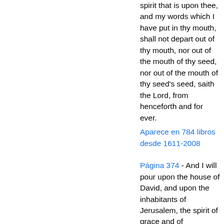spirit that is upon thee, and my words which I have put in thy mouth, shall not depart out of thy mouth, nor out of the mouth of thy seed, nor out of the mouth of thy seed's seed, saith the Lord, from henceforth and for ever.
Aparece en 784 libros desde 1611-2008
Página 374 - And I will pour upon the house of David, and upon the inhabitants of Jerusalem, the spirit of grace and of supplications: and they shall look upon me whom they have pierced, and they shall mourn for him, as one mourneth for his only son, and shall be